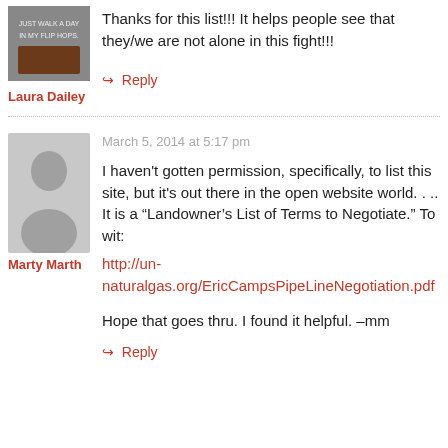[Figure (photo): Small thumbnail photo of Laura Dailey, showing a sign that reads 'JUST WALK A DAY IN MY FLIP HOPS']
Thanks for this list!!! It helps people see that they/we are not alone in this fight!!!
Laura Dailey
↳ Reply
March 5, 2014 at 5:17 pm
[Figure (illustration): Generic grey avatar silhouette for Marty Marth]
I haven't gotten permission, specifically, to list this site, but it's out there in the open website world. . .. It is a "Landowner's List of Terms to Negotiate." To wit:
http://un-naturalgas.org/EricCampsPipeLineNegotiation.pdf
Hope that goes thru. I found it helpful. –mm
Marty Marth
↳ Reply